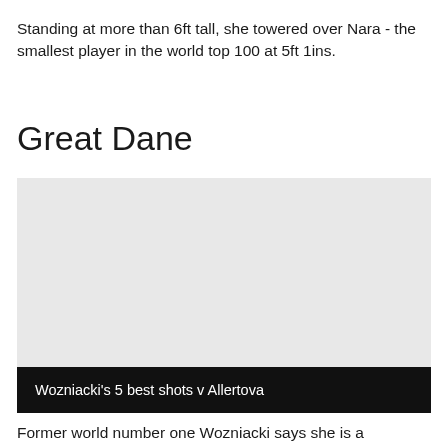Standing at more than 6ft tall, she towered over Nara - the smallest player in the world top 100 at 5ft 1ins.
Great Dane
[Figure (photo): Video thumbnail with dark overlay caption bar at bottom reading "Wozniacki's 5 best shots v Allertova"]
Wozniacki's 5 best shots v Allertova
Former world number one Wozniacki says she is a